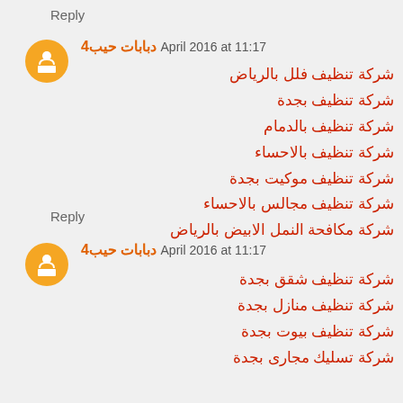Reply
دبابات حيب4 April 2016 at 11:17
شركة تنظيف فلل بالرياض
شركة تنظيف بجدة
شركة تنظيف بالدمام
شركة تنظيف بالاحساء
شركة تنظيف موكيت بجدة
شركة تنظيف مجالس بالاحساء
شركة مكافحة النمل الابيض بالرياض
Reply
دبابات حيب4 April 2016 at 11:17
شركة تنظيف شقق بجدة
شركة تنظيف منازل بجدة
شركة تنظيف بيوت بجدة
شركة تسليك مجارى بجدة